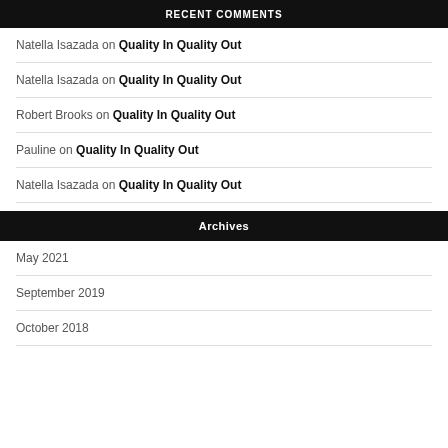RECENT COMMENTS
Natella Isazada on Quality In Quality Out
Natella Isazada on Quality In Quality Out
Robert Brooks on Quality In Quality Out
Pauline on Quality In Quality Out
Natella Isazada on Quality In Quality Out
Archives
May 2021
September 2019
October 2018